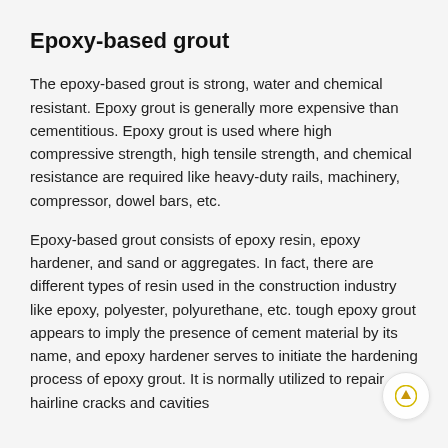Epoxy-based grout
The epoxy-based grout is strong, water and chemical resistant. Epoxy grout is generally more expensive than cementitious. Epoxy grout is used where high compressive strength, high tensile strength, and chemical resistance are required like heavy-duty rails, machinery, compressor, dowel bars, etc.
Epoxy-based grout consists of epoxy resin, epoxy hardener, and sand or aggregates. In fact, there are different types of resin used in the construction industry like epoxy, polyester, polyurethane, etc. tough epoxy grout appears to imply the presence of cement material by its name, and epoxy hardener serves to initiate the hardening process of epoxy grout. It is normally utilized to repair hairline cracks and cavities